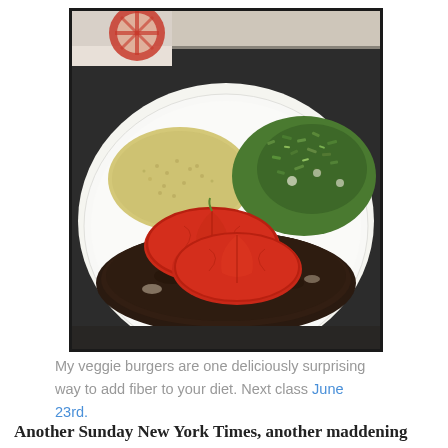[Figure (photo): A white plate with a veggie burger topped with fresh tomato slices, a side of couscous or quinoa, and a chopped green leafy salad. The plate sits on a decorative red and white patterned surface. The photo has a dark border/frame, Instagram-style.]
My veggie burgers are one deliciously surprising way to add fiber to your diet. Next class June 23rd.
Another Sunday New York Times, another maddening